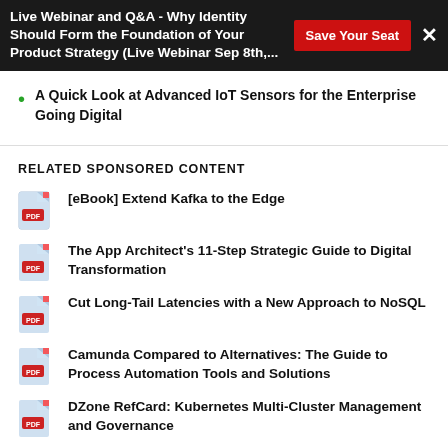Live Webinar and Q&A - Why Identity Should Form the Foundation of Your Product Strategy (Live Webinar Sep 8th,... Save Your Seat ×
A Quick Look at Advanced IoT Sensors for the Enterprise Going Digital
RELATED SPONSORED CONTENT
[eBook] Extend Kafka to the Edge
The App Architect's 11-Step Strategic Guide to Digital Transformation
Cut Long-Tail Latencies with a New Approach to NoSQL
Camunda Compared to Alternatives: The Guide to Process Automation Tools and Solutions
DZone RefCard: Kubernetes Multi-Cluster Management and Governance
RELATED SPONSOR